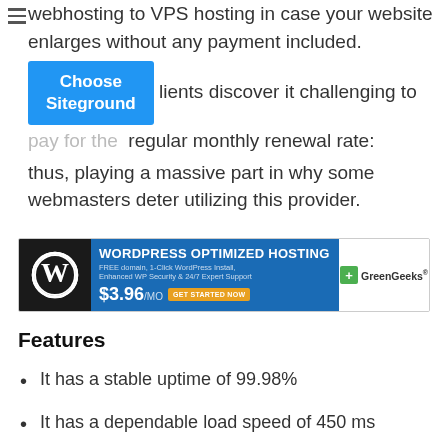webhosting to VPS hosting in case your website enlarges without any payment included. [Choose Siteground] clients discover it challenging to pay for the regular monthly renewal rate: thus, playing a massive part in why some webmasters deter utilizing this provider.
[Figure (screenshot): GreenGeeks WordPress Optimized Hosting advertisement banner showing WordPress logo, price $3.96/mo, and GreenGeeks branding]
Features
It has a stable uptime of 99.98%
It has a dependable load speed of 450 ms